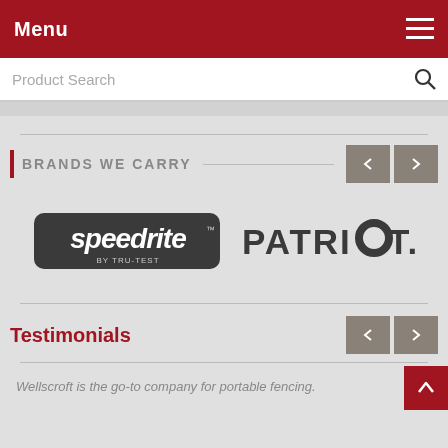Menu
Product Search
BRANDS WE CARRY
[Figure (logo): Speedrite by Tru-Test brand logo — dark rounded rectangle with white italic text 'speedrite' and small text 'by TRU-TEST']
[Figure (logo): PATRIOT brand logo — bold dark grey uppercase letters with stylized O]
Testimonials
Wellscroft is the go-to company for portable fencing.